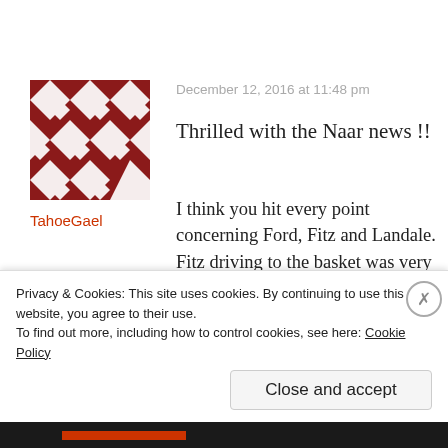[Figure (illustration): User avatar: dark red/maroon checkerboard/diamond quilt pattern square image]
TahoeGael
December 12, 2016 at 11:48 pm
Thrilled with the Naar news !!
I think you hit every point concerning Ford, Fitz and Landale. Fitz driving to the basket was very refreshing. He was out to prove something to himself, the coaches and his team. I thought Calvin was more aggressive to the basket also. Looked to me like UCL
Privacy & Cookies: This site uses cookies. By continuing to use this website, you agree to their use.
To find out more, including how to control cookies, see here: Cookie Policy
Close and accept